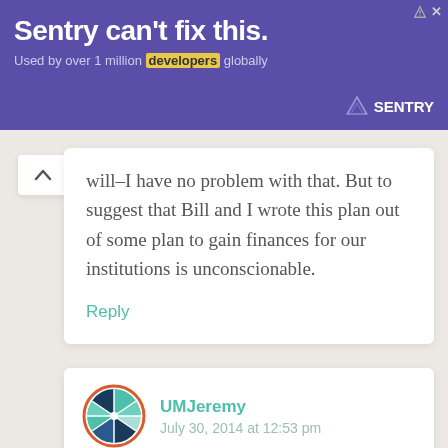[Figure (screenshot): Advertisement banner with purple background. Text: 'Sentry can't fix this.' and 'Used by over 1 million developers globally'. Sentry logo on right.]
will–I have no problem with that. But to suggest that Bill and I wrote this plan out of some plan to gain finances for our institutions is unconscionable.
Reply
UMJeremy
July 30, 2014 at 12:53 pm